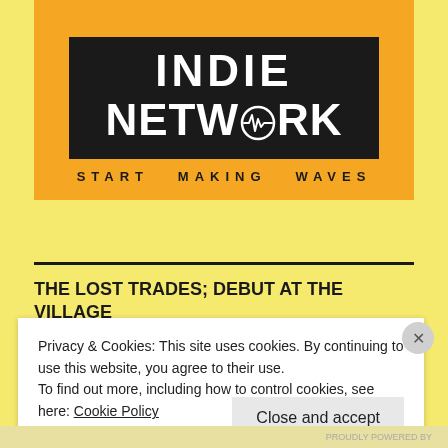[Figure (logo): Indie Network logo on orange/amber background with dark box containing 'INDIE NETWORK' in bold white text and a waveform icon in the O, with tagline 'START MAKING WAVES' below]
THE LOST TRADES; DEBUT AT THE VILLAGE
Privacy & Cookies: This site uses cookies. By continuing to use this website, you agree to their use.
To find out more, including how to control cookies, see here: Cookie Policy
Close and accept